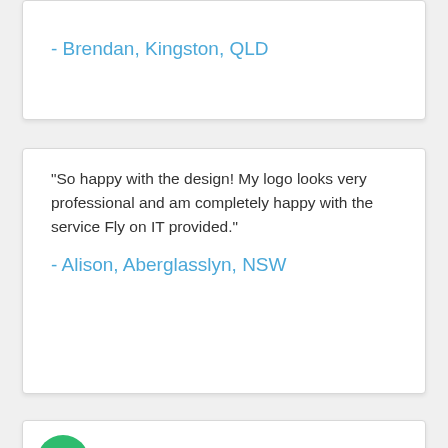- Brendan, Kingston, QLD
"So happy with the design! My logo looks very professional and am completely happy with the service Fly on IT provided."
- Alison, Aberglasslyn, NSW
'Great product and excellent communication.